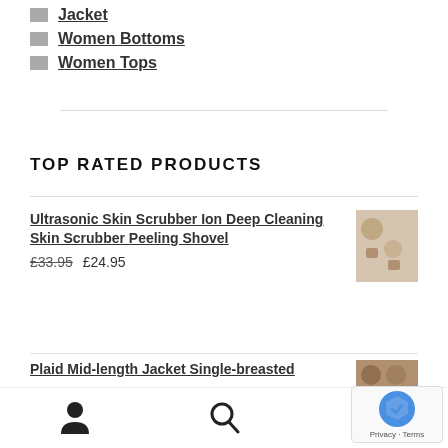Jacket
Women Bottoms
Women Tops
TOP RATED PRODUCTS
Ultrasonic Skin Scrubber Ion Deep Cleaning Skin Scrubber Peeling Shovel
£33.95 £24.95
Plaid Mid-length Jacket Single-breasted